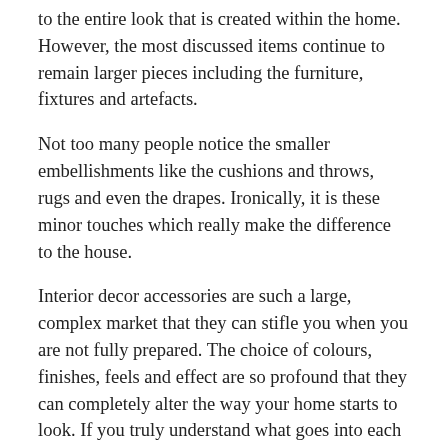to the entire look that is created within the home. However, the most discussed items continue to remain larger pieces including the furniture, fixtures and artefacts.
Not too many people notice the smaller embellishments like the cushions and throws, rugs and even the drapes. Ironically, it is these minor touches which really make the difference to the house.
Interior decor accessories are such a large, complex market that they can stifle you when you are not fully prepared. The choice of colours, finishes, feels and effect are so profound that they can completely alter the way your home starts to look. If you truly understand what goes into each of these, you will begin to enjoy playing with them and their effects, and really start to feel the accessories work for you.
Interior finishing accessories are...